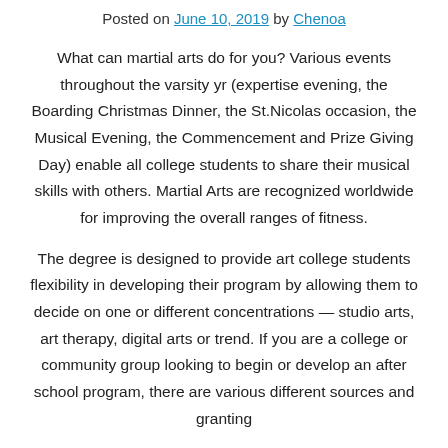Posted on June 10, 2019 by Chenoa
What can martial arts do for you? Various events throughout the varsity yr (expertise evening, the Boarding Christmas Dinner, the St.Nicolas occasion, the Musical Evening, the Commencement and Prize Giving Day) enable all college students to share their musical skills with others. Martial Arts are recognized worldwide for improving the overall ranges of fitness.
The degree is designed to provide art college students flexibility in developing their program by allowing them to decide on one or different concentrations — studio arts, art therapy, digital arts or trend. If you are a college or community group looking to begin or develop an after school program, there are various different sources and granting